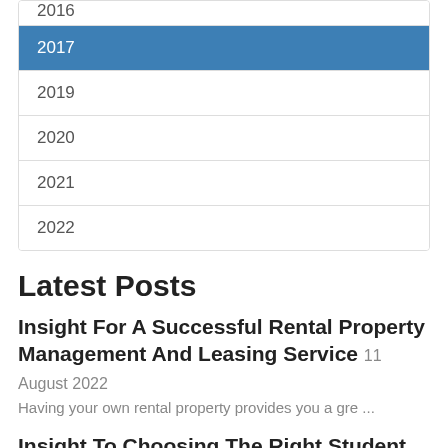2016
2017
2019
2020
2021
2022
Latest Posts
Insight For A Successful Rental Property Management And Leasing Service  11 August 2022
Having your own rental property provides you a gre ...
Insight To Choosing The Right Student Housing Rental  5 July 2022
College life and studying at a university is an ex